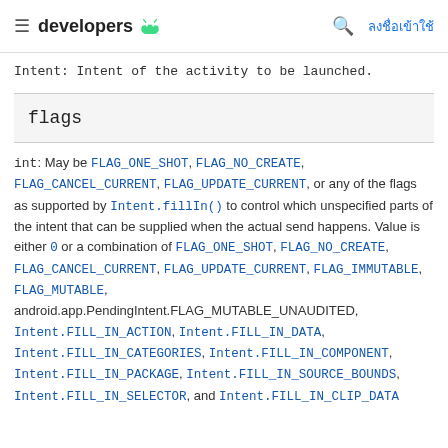≡ developers 🤖   🔍  ลงชื่อเข้าใช้
Intent: Intent of the activity to be launched.
flags
int: May be FLAG_ONE_SHOT, FLAG_NO_CREATE, FLAG_CANCEL_CURRENT, FLAG_UPDATE_CURRENT, or any of the flags as supported by Intent.fillIn() to control which unspecified parts of the intent that can be supplied when the actual send happens. Value is either 0 or a combination of FLAG_ONE_SHOT, FLAG_NO_CREATE, FLAG_CANCEL_CURRENT, FLAG_UPDATE_CURRENT, FLAG_IMMUTABLE, FLAG_MUTABLE, android.app.PendingIntent.FLAG_MUTABLE_UNAUDITED, Intent.FILL_IN_ACTION, Intent.FILL_IN_DATA, Intent.FILL_IN_CATEGORIES, Intent.FILL_IN_COMPONENT, Intent.FILL_IN_PACKAGE, Intent.FILL_IN_SOURCE_BOUNDS, Intent.FILL_IN_SELECTOR, and Intent.FILL_IN_CLIP_DATA